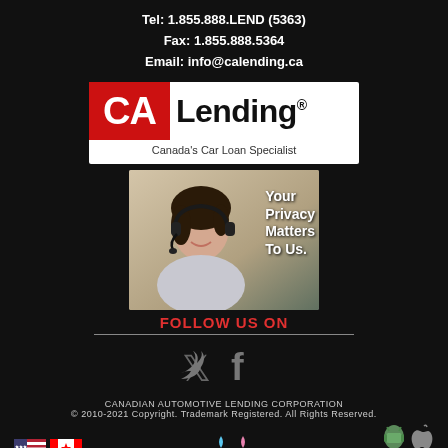Tel: 1.855.888.LEND (5363)
Fax: 1.855.888.5364
Email: info@calending.ca
[Figure (logo): CA Lending logo — red box with white CA text, then Lending with registered trademark symbol. Tagline: Canada's Car Loan Specialist]
[Figure (photo): Woman with headset smiling, overlay text: Your Privacy Matters To Us.]
FOLLOW US ON
[Figure (illustration): Twitter and Facebook social media icons in gray]
CANADIAN AUTOMOTIVE LENDING CORPORATION
© 2010-2021 Copyright. Trademark Registered. All Rights Reserved.
[Figure (illustration): US flag and Canadian flag icons, awareness ribbon icons (blue and pink), Android and Apple app store icons, TrustedSite badge]